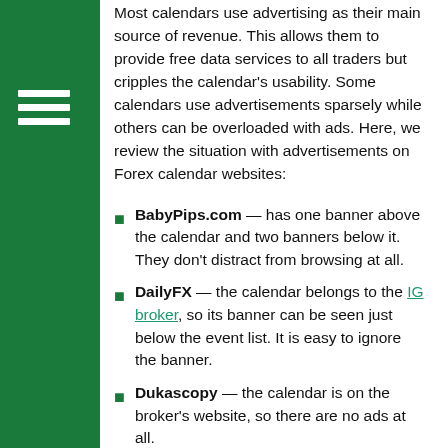Most calendars use advertising as their main source of revenue. This allows them to provide free data services to all traders but cripples the calendar's usability. Some calendars use advertisements sparsely while others can be overloaded with ads. Here, we review the situation with advertisements on Forex calendar websites:
BabyPips.com — has one banner above the calendar and two banners below it. They don't distract from browsing at all.
DailyFX — the calendar belongs to the IG broker, so its banner can be seen just below the event list. It is easy to ignore the banner.
Dukascopy — the calendar is on the broker's website, so there are no ads at all.
Forex Factory — has a sliding side banner and a bottom banner. The former can be somewhat